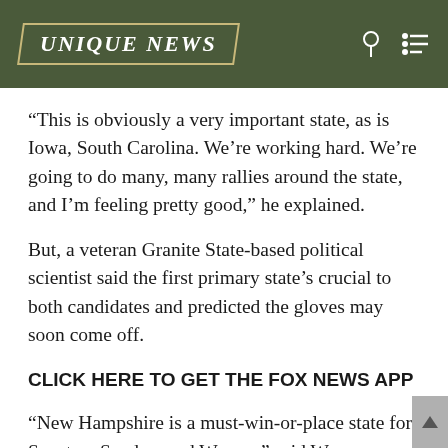UNIQUE NEWS
“This is obviously a very important state, as is Iowa, South Carolina. We’re working hard. We’re going to do many, many rallies around the state, and I’m feeling pretty good,” he explained.
But, a veteran Granite State-based political scientist said the first primary state’s crucial to both candidates and predicted the gloves may soon come off.
CLICK HERE TO GET THE FOX NEWS APP
“New Hampshire is a must-win-or-place state for Senators Sanders and Warren,” said Wayne Lesperance, the vice president of academic affairs and a political science professor at New England